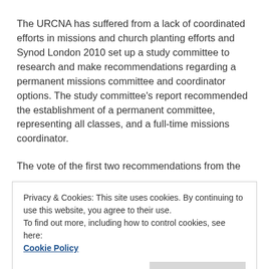The URCNA has suffered from a lack of coordinated efforts in missions and church planting efforts and Synod London 2010 set up a study committee to research and make recommendations regarding a permanent missions committee and coordinator options. The study committee's report recommended the establishment of a permanent committee, representing all classes, and a full-time missions coordinator.
The vote of the first two recommendations from the
Privacy & Cookies: This site uses cookies. By continuing to use this website, you agree to their use.
To find out more, including how to control cookies, see here:
Cookie Policy
slowed to a crawl when it came to appointing a